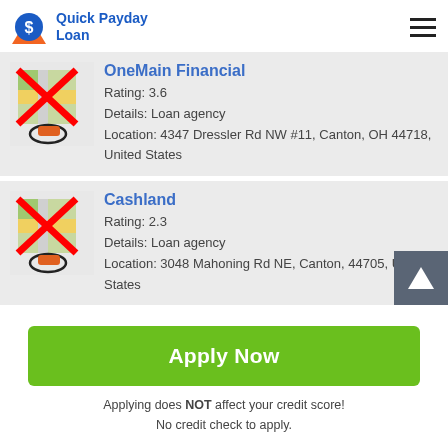[Figure (logo): Quick Payday Loan logo with orange/blue S icon and blue text]
OneMain Financial
Rating: 3.6
Details: Loan agency
Location: 4347 Dressler Rd NW #11, Canton, OH 44718, United States
Cashland
Rating: 2.3
Details: Loan agency
Location: 3048 Mahoning Rd NE, Canton, 44705, United States
Apply Now
Applying does NOT affect your credit score!
No credit check to apply.